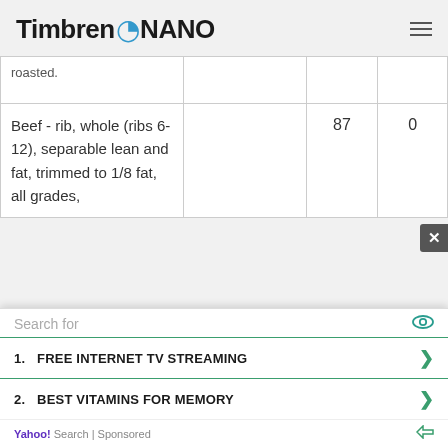Timbren NANO
| Food |  | Value1 | Value2 |
| --- | --- | --- | --- |
| roasted. |  |  |  |
| Beef - rib, whole (ribs 6-12), separable lean and fat, trimmed to 1/8 fat, all grades, |  | 87 | 0 |
Search for
1. FREE INTERNET TV STREAMING
2. BEST VITAMINS FOR MEMORY
Yahoo! Search | Sponsored